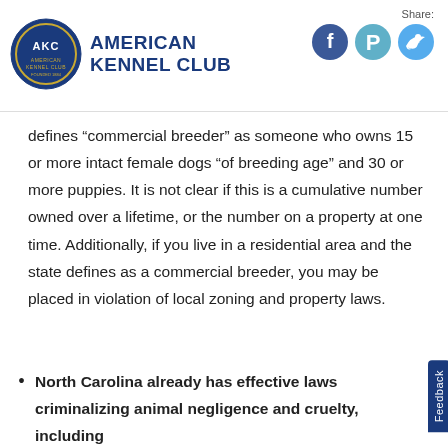American Kennel Club — Share: [Facebook, Pinterest, Twitter]
defines “commercial breeder” as someone who owns 15 or more intact female dogs “of breeding age” and 30 or more puppies. It is not clear if this is a cumulative number owned over a lifetime, or the number on a property at one time. Additionally, if you live in a residential area and the state defines as a commercial breeder, you may be placed in violation of local zoning and property laws.
North Carolina already has effective laws criminalizing animal negligence and cruelty, including